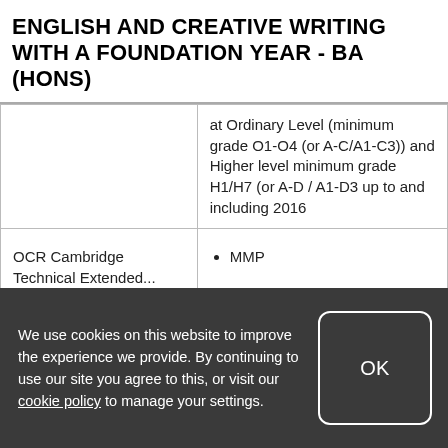ENGLISH AND CREATIVE WRITING WITH A FOUNDATION YEAR - BA (HONS)
|  |  |
| --- | --- |
|  | at Ordinary Level (minimum grade O1-O4 (or A-C/A1-C3)) and Higher level minimum grade H1/H7 (or A-D / A1-D3 up to and including 2016 |
| OCR Cambridge Technical Extended... | • MMP |
We use cookies on this website to improve the experience we provide. By continuing to use our site you agree to this, or visit our cookie policy to manage your settings.